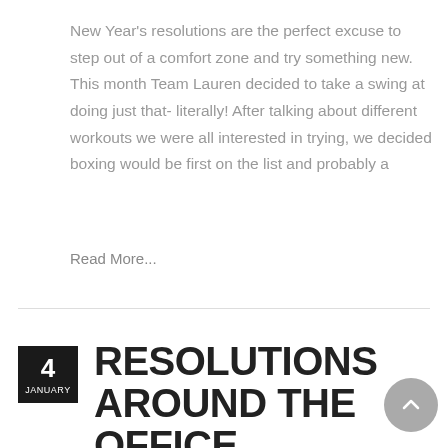New Year's resolutions are the perfect excuse to step out of a comfort zone and try something new. This month Team Lauren decided to take a swing at doing just that- literally! After talking about different workouts we were all interested in trying, we decided boxing would be first on the list and probably a
Read More...
RESOLUTIONS AROUND THE OFFICE